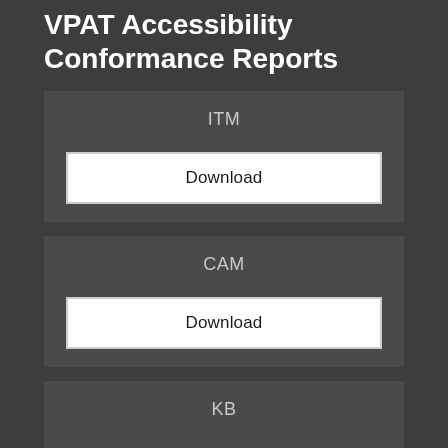VPAT Accessibility Conformance Reports
ITM
Download
CAM
Download
KB